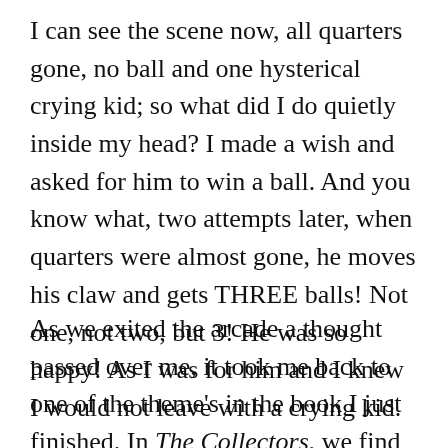I can see the scene now, all quarters gone, no ball and one hysterical crying kid; so what did I do quietly inside my head? I made a wish and asked for him to win a ball. And you know what, two attempts later, when quarters were almost gone, he moves his claw and gets THREE balls! Not one, not two, but 3! He was so happy! As I was for him and I knew I would not leave with a crying kid.
As we exited the arcade a thought passed over me, it took me back to one of the theme's in the book I just finished. In The Collectors, we find out that some wishes won't ever come true, as they aren't wished in a correct manner, but the ones done in a correct way, will come